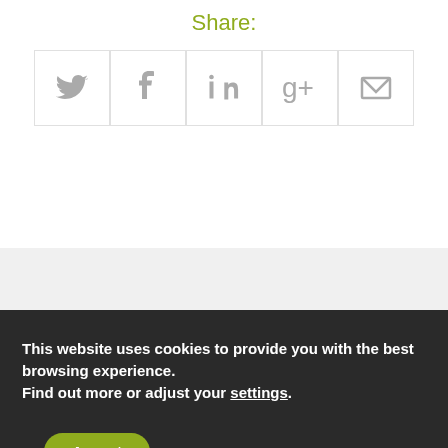Share:
[Figure (infographic): Row of five social media share buttons: Twitter, Facebook, LinkedIn, Google+, and Email (envelope icon), each in a bordered square box with gray icons.]
This website uses cookies to provide you with the best browsing experience.
Find out more or adjust your settings.
Accept